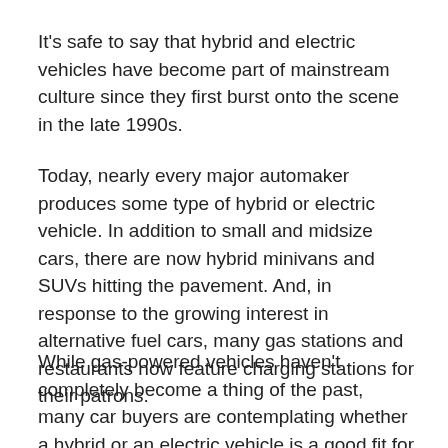It's safe to say that hybrid and electric vehicles have become part of mainstream culture since they first burst onto the scene in the late 1990s.
Today, nearly every major automaker produces some type of hybrid or electric vehicle. In addition to small and midsize cars, there are now hybrid minivans and SUVs hitting the pavement. And, in response to the growing interest in alternative fuel cars, many gas stations and restaurants now feature charging stations for their patrons.
While gas-powered vehicles haven't completely become a thing of the past, many car buyers are contemplating whether a hybrid or an electric vehicle is a good fit for